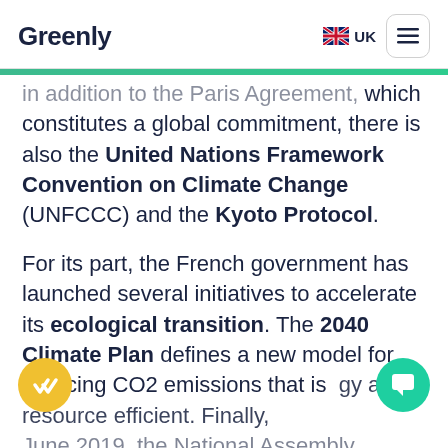Greenly  UK ≡
in addition to the Paris Agreement, which constitutes a global commitment, there is also the United Nations Framework Convention on Climate Change (UNFCCC) and the Kyoto Protocol.
For its part, the French government has launched several initiatives to accelerate its ecological transition. The 2040 Climate Plan defines a new model for reducing CO2 emissions that is energy and resource efficient. Finally, June 2019, the National Assembly